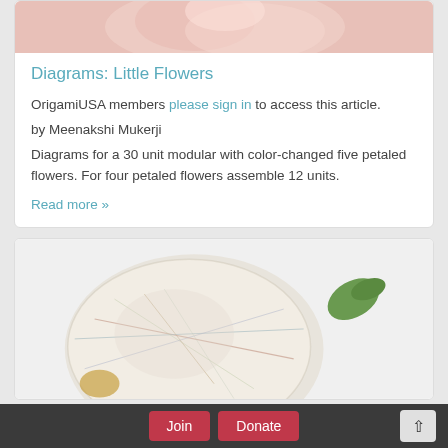[Figure (photo): Partial view of origami flower model, pink/peach tones, cropped at top]
Diagrams: Little Flowers
OrigamiUSA members please sign in to access this article.
by Meenakshi Mukerji
Diagrams for a 30 unit modular with color-changed five petaled flowers. For four petaled flowers assemble 12 units.
Read more »
[Figure (photo): Origami modular ball made from map/road-map patterned paper, with green leaf accents, partially visible]
Join   Donate   ↑